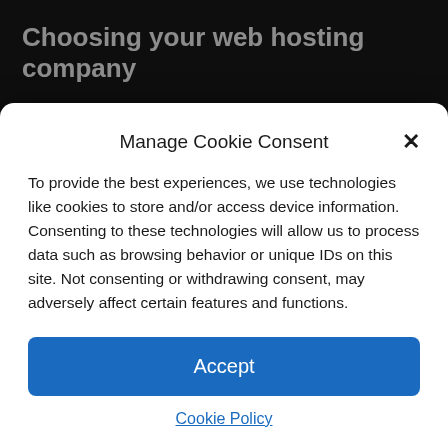Choosing your web hosting company
If you have just started setting up your website or are planning to build one, investing lots of money in a hosting account is normally not the first thing you want to do. Finding an affordable hosting packages provider should then be your objective and, when the search begins, you'll discover that making a choice is not so easy.
Different hosting...
Manage Cookie Consent
To provide the best experiences, we use technologies like cookies to store and/or access device information. Consenting to these technologies will allow us to process data such as browsing behavior or unique IDs on this site. Not consenting or withdrawing consent, may adversely affect certain features and functions.
Accept
Cookie Policy